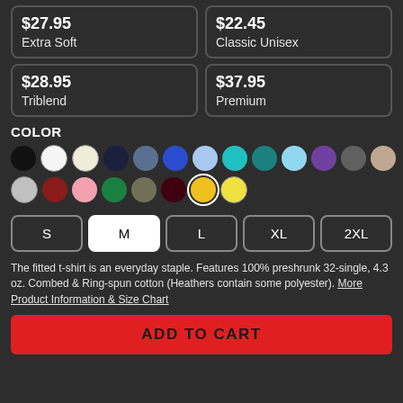$27.95 Extra Soft
$22.45 Classic Unisex
$28.95 Triblend
$37.95 Premium
COLOR
[Figure (other): Two rows of color swatches for product color selection. Row 1: black, white, cream, navy, steel blue, royal blue, light blue, teal/cyan, dark teal, sky blue, purple, dark gray, light tan. Row 2: light gray, dark red/maroon, pink, green, olive, dark brown, gold (selected, outlined), yellow.]
S M L XL 2XL size selector buttons, M is selected (white background)
The fitted t-shirt is an everyday staple. Features 100% preshrunk 32-single, 4.3 oz. Combed & Ring-spun cotton (Heathers contain some polyester). More Product Information & Size Chart
ADD TO CART